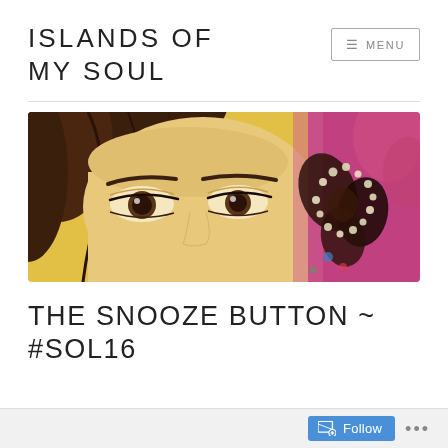ISLANDS OF MY SOUL
[Figure (other): Artwork illustration showing a close-up of a painted face with large brown eyes, dark hair, and decorative floral/beaded elements on yellow-gold background with pink accent]
THE SNOOZE BUTTON ~ #SOL16
Follow ...